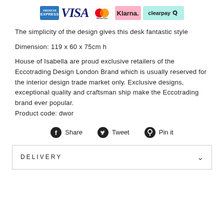[Figure (logo): Payment method logos: American Express, VISA, MasterCard, Klarna, Clearpay]
The simplicity of the design gives this desk fantastic style
Dimension: 119 x 60 x 75cm h
House of Isabella are proud exclusive retailers of the Eccotrading Design London Brand which is usually reserved for the interior design trade market only. Exclusive designs, exceptional quality and craftsman ship make the Eccotrading brand ever popular.
Product code: dwor
[Figure (infographic): Social share bar with Facebook Share, Twitter Tweet, Pinterest Pin it icons]
DELIVERY